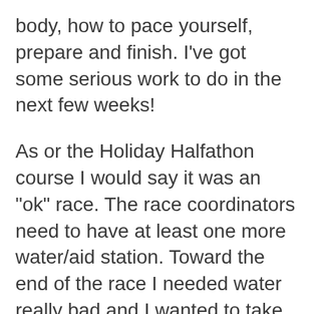body, how to pace yourself, prepare and finish. I've got some serious work to do in the next few weeks!
As or the Holiday Halfathon course I would say it was an "ok" race. The race coordinators need to have at least one more water/aid station. Toward the end of the race I needed water really bad and I wanted to take my last GU. It was at least 2 miles before that water station finally came. At one point it appeared as if an aid station was ahead, but turned out only to be a few volunteers handing out orange slices. If you're going to have a station for orange slices you might as well have water too, right??? The course was flat and fast. There was one small bridge to run across and